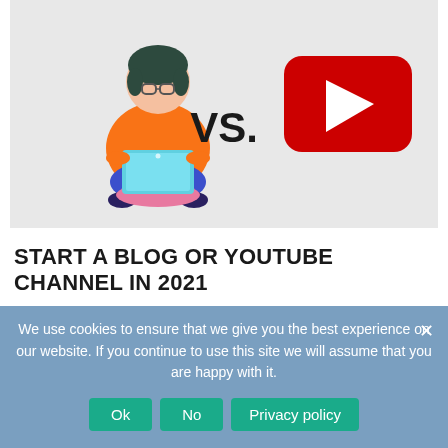[Figure (illustration): Illustration of a person sitting cross-legged with a laptop vs. YouTube logo (red rounded square with white play button triangle), with 'VS.' text between them, on a light gray background.]
START A BLOG OR YOUTUBE CHANNEL IN 2021
Jan 21, 2021
There are a lot of ways for you to earn money just by sitting at your home. In today's world, there are many ideas you can opt for and earn from...
We use cookies to ensure that we give you the best experience on our website. If you continue to use this site we will assume that you are happy with it.